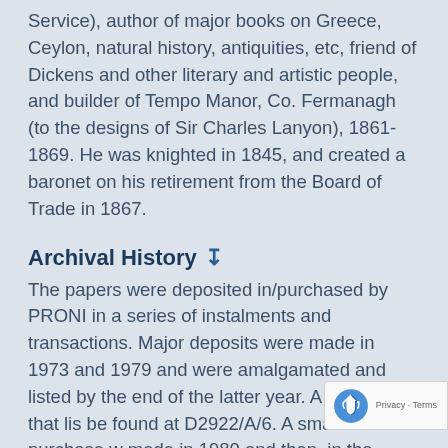Service), author of major books on Greece, Ceylon, natural history, antiquities, etc, friend of Dickens and other literary and artistic people, and builder of Tempo Manor, Co. Fermanagh (to the designs of Sir Charles Lanyon), 1861-1869. He was knighted in 1845, and created a baronet on his retirement from the Board of Trade in 1867.
Archival History ↧
The papers were deposited in/purchased by PRONI in a series of instalments and transactions. Major deposits were made in 1973 and 1979 and were amalgamated and listed by the end of the latter year. A copy of that list be found at D2922/A/6. A small purchase w made in 1980 and then, in the course of the